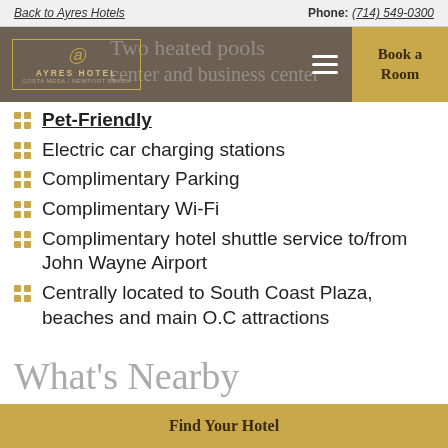Back to Ayres Hotels | Phone: (714) 549-0300
[Figure (screenshot): Ayres Hotel Costa Mesa/Newport Beach navigation bar with logo, hamburger menu, and Book a Room button. Faded background text reads: 'Two heated pools' and 'center and business center']
Pet-Friendly
Electric car charging stations
Complimentary Parking
Complimentary Wi-Fi
Complimentary hotel shuttle service to/from John Wayne Airport
Centrally located to South Coast Plaza, beaches and main O.C attractions
What's Nearby
Find Your Hotel